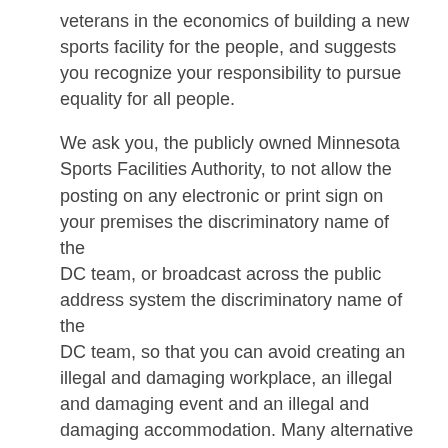veterans in the economics of building a new sports facility for the people, and suggests you recognize your responsibility to pursue equality for all people.
We ask you, the publicly owned Minnesota Sports Facilities Authority, to not allow the posting on any electronic or print sign on your premises the discriminatory name of the DC team, or broadcast across the public address system the discriminatory name of the DC team, so that you can avoid creating an illegal and damaging workplace, an illegal and damaging event and an illegal and damaging accommodation. Many alternative forms of speech are available that do not offend, do not convey hate and do not denigrate a protected class of people.
On November 7, 2013, the Washington DC professional football team comes to Minneapolis to play football at the government funded and operated Hubert H.